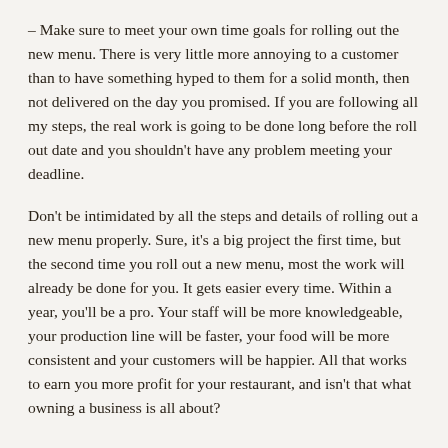– Make sure to meet your own time goals for rolling out the new menu. There is very little more annoying to a customer than to have something hyped to them for a solid month, then not delivered on the day you promised. If you are following all my steps, the real work is going to be done long before the roll out date and you shouldn't have any problem meeting your deadline.
Don't be intimidated by all the steps and details of rolling out a new menu properly. Sure, it's a big project the first time, but the second time you roll out a new menu, most the work will already be done for you. It gets easier every time. Within a year, you'll be a pro. Your staff will be more knowledgeable, your production line will be faster, your food will be more consistent and your customers will be happier. All that works to earn you more profit for your restaurant, and isn't that what owning a business is all about?